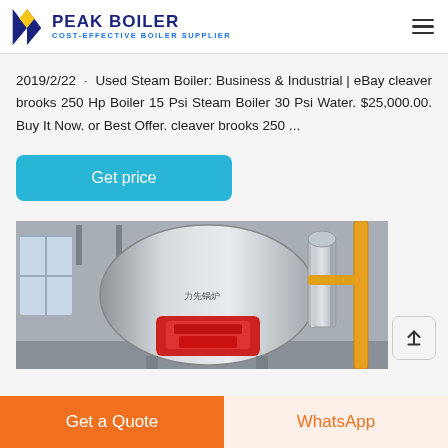PEAK BOILER — COST-EFFECTIVE BOILER SUPPLIER
2019/2/22 · Used Steam Boiler: Business & Industrial | eBay cleaver brooks 250 Hp Boiler 15 Psi Steam Boiler 30 Psi Water. $25,000.00. Buy It Now. or Best Offer. cleaver brooks 250 ...
Get price
[Figure (photo): Industrial boiler equipment in a factory setting — large cylindrical silver/grey boiler with a red burner unit at the front, connected to silver ductwork and yellow gas pipes on the right side, inside a concrete industrial building.]
Get a Quote
WhatsApp